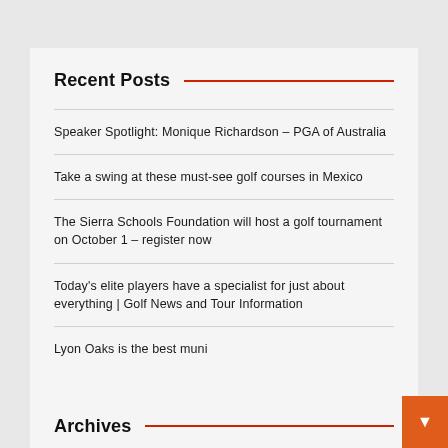Recent Posts
Speaker Spotlight: Monique Richardson – PGA of Australia
Take a swing at these must-see golf courses in Mexico
The Sierra Schools Foundation will host a golf tournament on October 1 – register now
Today's elite players have a specialist for just about everything | Golf News and Tour Information
Lyon Oaks is the best muni
Archives